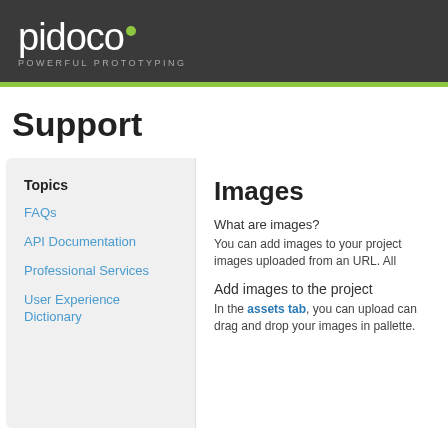pidoco° POWERFUL PROTOTYPING
Support
Topics
FAQs
API Documentation
Professional Services
User Experience Dictionary
Images
What are images?
You can add images to your project images uploaded from an URL. All
Add images to the project
In the assets tab, you can upload can drag and drop your images in pallette.